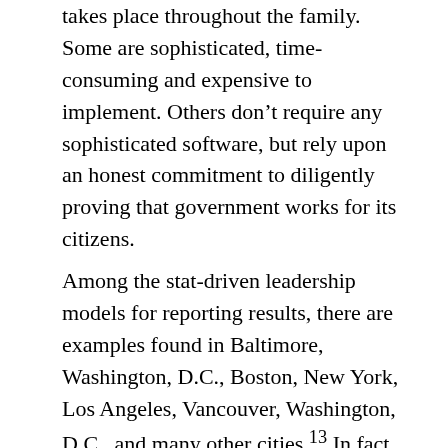takes place throughout the family. Some are sophisticated, time-consuming and expensive to implement. Others don't require any sophisticated software, but rely upon an honest commitment to diligently proving that government works for its citizens.
Among the stat-driven leadership models for reporting results, there are examples found in Baltimore, Washington, D.C., Boston, New York, Los Angeles, Vancouver, Washington, D.C., and many other cities.13 In fact, in Baltimore, the